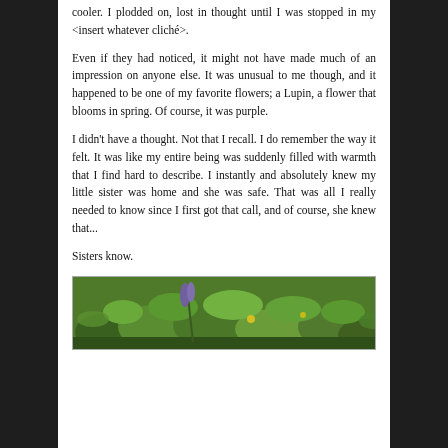cooler. I plodded on, lost in thought until I was stopped in my <insert whatever cliché>.
Even if they had noticed, it might not have made much of an impression on anyone else. It was unusual to me though, and it happened to be one of my favorite flowers; a Lupin, a flower that blooms in spring. Of course, it was purple.
I didn't have a thought. Not that I recall. I do remember the way it felt. It was like my entire being was suddenly filled with warmth that I find hard to describe. I instantly and absolutely knew my little sister was home and she was safe. That was all I really needed to know since I first got that call, and of course, she knew that...
Sisters know.
[Figure (photo): Photograph of green leafy plants and grass on the ground, with a Lupin plant visible among the foliage.]